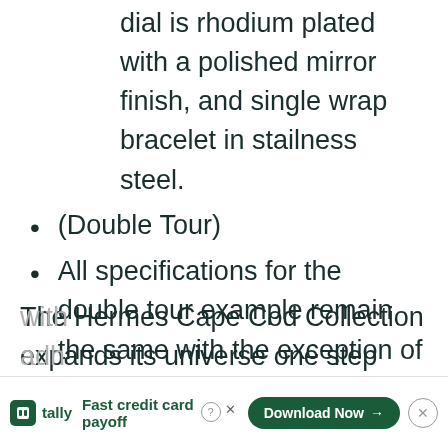dial is rhodium plated with a polished mirror finish, and single wrap bracelet in stailness steel.
(Double Tour)
All specifications for the double tour example remain the same with the exception of the double wrap stainless steel bracelet in the place of the single tour.
The Hermes Cape Cod Collection expands its universe one step further with
adh
[Figure (other): Tally app advertisement banner with 'Fast credit card payoff' tagline and Download Now button]